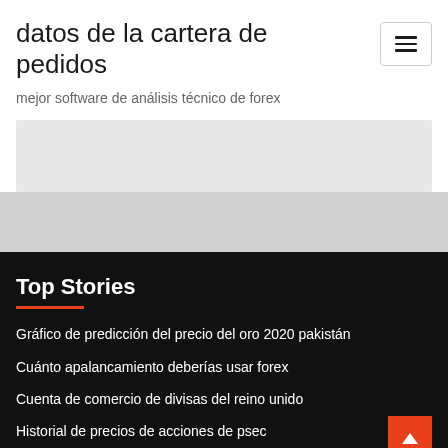datos de la cartera de pedidos
mejor software de análisis técnico de forex
Top Stories
Gráfico de predicción del precio del oro 2020 pakistán
Cuánto apalancamiento deberías usar forex
Cuenta de comercio de divisas del reino unido
Historial de precios de acciones de psec